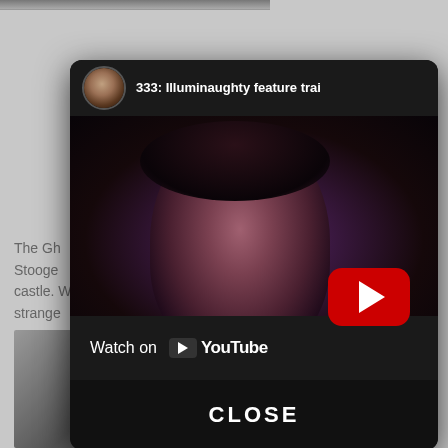[Figure (screenshot): A webpage screenshot showing a YouTube video embed modal overlay. The modal displays a video titled '333: Illuminaughty feature trai' with a channel avatar on the left, a dark video thumbnail showing a woman's face, a red YouTube play button, and a 'Watch on YouTube' bar at the bottom. Below the modal is a CLOSE button. Behind the modal are partially visible text about 'The Gh... Stooge... castle. W... strange...' and a grayscale photo at the bottom.]